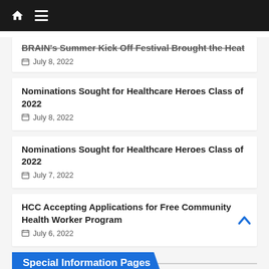Navigation bar with home and menu icons
BRAIN's Summer Kick Off Festival Brought the Heat — July 8, 2022
Nominations Sought for Healthcare Heroes Class of 2022 — July 8, 2022
Nominations Sought for Healthcare Heroes Class of 2022 — July 7, 2022
HCC Accepting Applications for Free Community Health Worker Program — July 6, 2022
Special Information Pages
Senior Living Options in Western Massachusetts October 2019